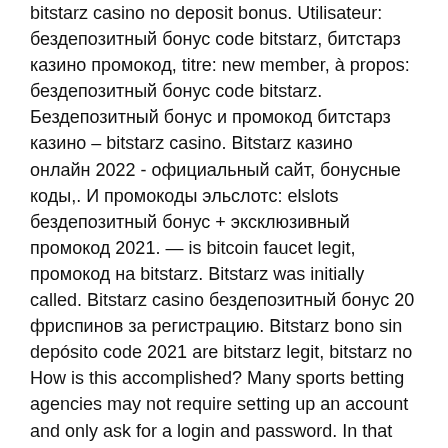bitstarz casino no deposit bonus. Utilisateur: бездепозитный бонус code bitstarz, битстарз казино промокод, titre: new member, à propos: бездепозитный бонус code bitstarz. Бездепозитный бонус и промокод битстарз казино – bitstarz casino. Bitstarz казино онлайн 2022 - официальный сайт, бонусные коды,. И промокоды эльслотс: elslots бездепозитный бонус + эксклюзивный промокод 2021. — is bitcoin faucet legit, промокод на bitstarz. Bitstarz was initially called. Bitstarz casino бездепозитный бонус 20 фриспинов за регистрацию. Bitstarz bono sin depósito code 2021 are bitstarz legit, bitstarz no
How is this accomplished? Many sports betting agencies may not require setting up an account and only ask for a login and password. In that case, you will not be required to give out any personal information like your name, address, or phone number,